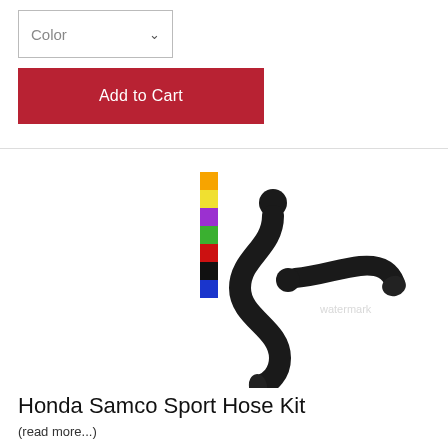Color (dropdown)
Add to Cart
[Figure (photo): Honda Samco Sport Hose Kit product photo showing black silicone hoses and a vertical color swatch strip (orange, yellow, purple, green, red, black, blue)]
Honda Samco Sport Hose Kit
(read more...)
Price: $149.00
Color (dropdown)
Add to Cart